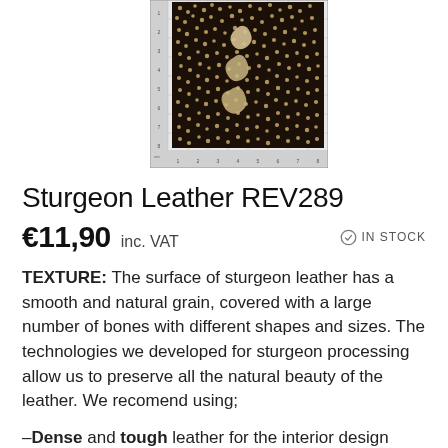[Figure (photo): Close-up photo of sturgeon leather piece against a grid/ruler background, showing dark surface covered with small round bones and a few lighter-colored irregular bone shapes]
Sturgeon Leather REV289
€11,90  inc. VAT   ✓ IN STOCK
TEXTURE: The surface of sturgeon leather has a smooth and natural grain, covered with a large number of bones with different shapes and sizes. The technologies we developed for sturgeon processing allow us to preserve all the natural beauty of the leather. We recomend using;
–Dense and tough leather for the interior design